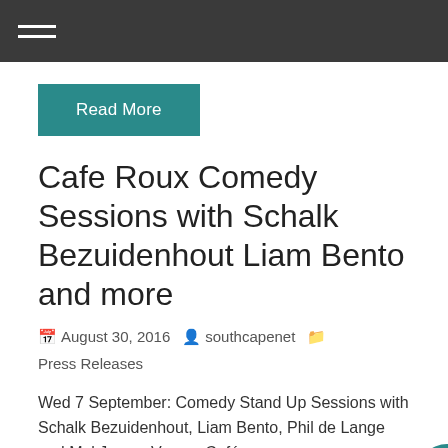≡ (hamburger menu)
Read More
Cafe Roux Comedy Sessions with Schalk Bezuidenhout Liam Bento and more
August 30, 2016  southcapenet  Press Releases
Wed 7 September: Comedy Stand Up Sessions with Schalk Bezuidenhout, Liam Bento, Phil de Lange and Mel Jones. Venue: Café…
Read More